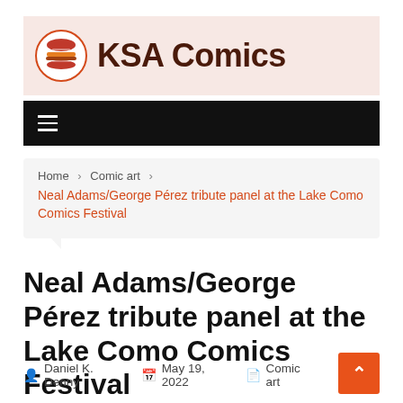KSA Comics
≡
Home > Comic art > Neal Adams/George Pérez tribute panel at the Lake Como Comics Festival
Neal Adams/George Pérez tribute panel at the Lake Como Comics Festival
Daniel K. Denny   May 19, 2022   Comic art